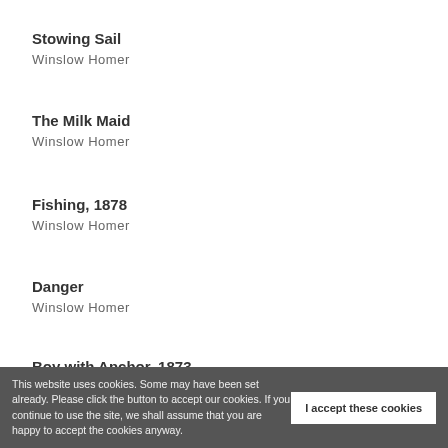Stowing Sail
Winslow Homer
The Milk Maid
Winslow Homer
Fishing, 1878
Winslow Homer
Danger
Winslow Homer
Boy with Anchor, 1873
Winslow Homer
This website uses cookies. Some may have been set already. Please click the button to accept our cookies. If you continue to use the site, we shall assume that you are happy to accept the cookies anyway.